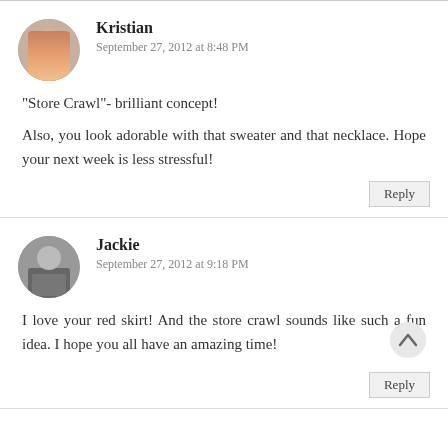Kristian
September 27, 2012 at 8:48 PM
"Store Crawl"- brilliant concept!

Also, you look adorable with that sweater and that necklace. Hope your next week is less stressful!
Reply
Jackie
September 27, 2012 at 9:18 PM
I love your red skirt! And the store crawl sounds like such a fun idea. I hope you all have an amazing time!
Reply